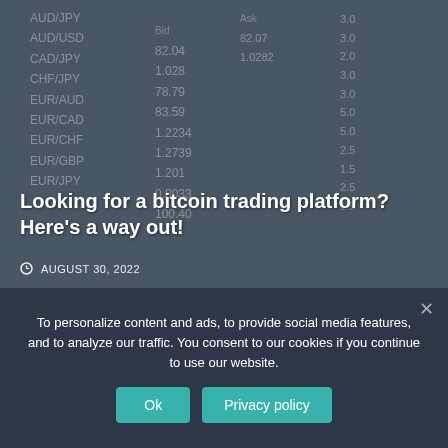[Figure (photo): Forex trading board showing currency pairs (AUD/JPY, AUD/USD, CAD/JPY, CHF/JPY, EUR/AUD, EUR/CAD, EUR/CHF, EUR/GBP, EUR/JPY) with bid/ask prices and a person viewed from behind looking at the board.]
Looking for a bitcoin trading platform? Here's a way out!
AUGUST 30, 2022
[Figure (photo): Thumbnail image showing 'THE STEP ACCOUNTING PROCESS IS A COMPLETE FOCUS' text with a hand drawing a chart line upward.]
The step accounting process is a complete focus
AUGUST 25, 2022
To personalize content and ads, to provide social media features, and to analyze our traffic. You consent to our cookies if you continue to use our website.